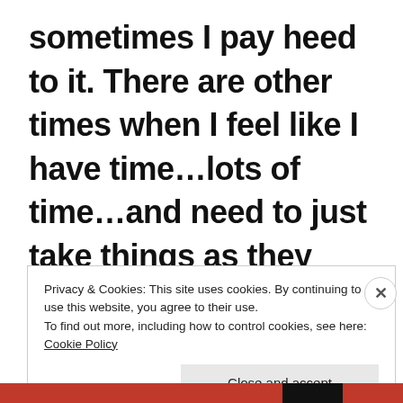sometimes I pay heed to it. There are other times when I feel like I have time…lots of time…and need to just take things as they come. Doubt sometimes walks with me for a while
Privacy & Cookies: This site uses cookies. By continuing to use this website, you agree to their use.
To find out more, including how to control cookies, see here: Cookie Policy
Close and accept